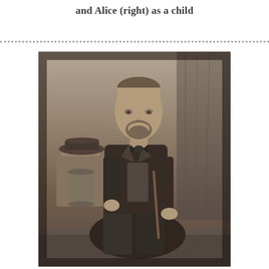and Alice (right) as a child
[Figure (photo): Sepia-toned Victorian portrait photograph of a man seated in a chair, wearing a dark suit and holding a cane. A hat rests on a pedestal to his left. A draped curtain is visible in the background.]